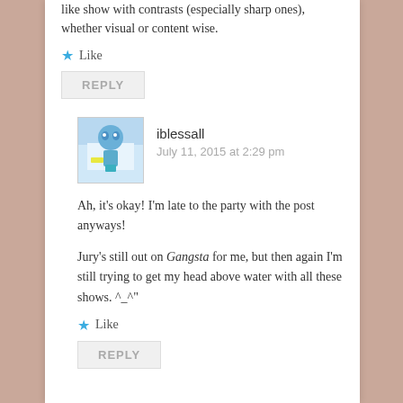like show with contrasts (especially sharp ones), whether visual or content wise.
Like
REPLY
iblessall
July 11, 2015 at 2:29 pm
Ah, it's okay! I'm late to the party with the post anyways!
Jury's still out on Gangsta for me, but then again I'm still trying to get my head above water with all these shows. ^_^"
Like
REPLY